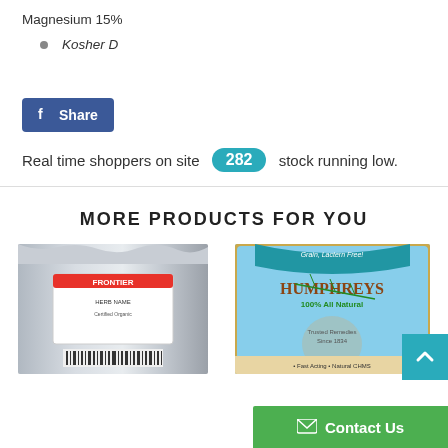Magnesium 15%
Kosher D
Share (Facebook)
Real time shoppers on site 282 stock running low.
MORE PRODUCTS FOR YOU
[Figure (photo): Frontier branded silver foil bag product photo]
[Figure (photo): Humphreys 100% All Natural product package photo]